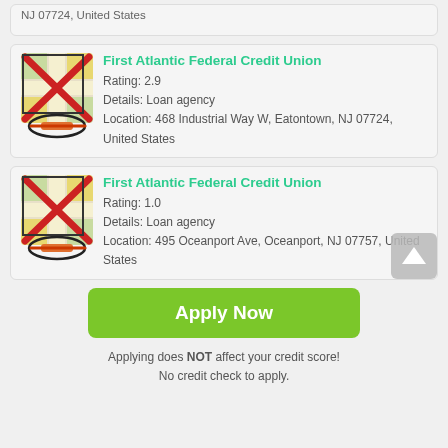NJ 07724, United States
First Atlantic Federal Credit Union
Rating: 2.9
Details: Loan agency
Location: 468 Industrial Way W, Eatontown, NJ 07724, United States
First Atlantic Federal Credit Union
Rating: 1.0
Details: Loan agency
Location: 495 Oceanport Ave, Oceanport, NJ 07757, United States
Apply Now
Applying does NOT affect your credit score!
No credit check to apply.